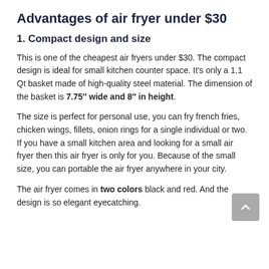Advantages of air fryer under $30
1. Compact design and size
This is one of the cheapest air fryers under $30. The compact design is ideal for small kitchen counter space. It’s only a 1.1 Qt basket made of high-quality steel material. The dimension of the basket is 7.75″ wide and 8″ in height.
The size is perfect for personal use, you can fry french fries, chicken wings, fillets, onion rings for a single individual or two. If you have a small kitchen area and looking for a small air fryer then this air fryer is only for you. Because of the small size, you can portable the air fryer anywhere in your city.
The air fryer comes in two colors black and red. And the design is so elegant eyecatching.